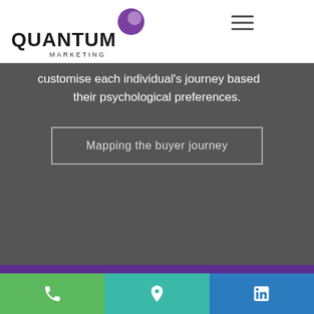[Figure (logo): Quantum Marketing logo with purple circular icon]
customise each individual's journey based on their psychological preferences.
Mapping the buyer journey
MARKETING MADE SIMPLE
There's a real value to simplicity. To making life easier for clients when first imagining and later delivering marketing automation campaigns – whatever your level of proficiency with the technology. We understand that you'll come to us with ideas, and it's our job to bring them to life. That's why it helps to call upon